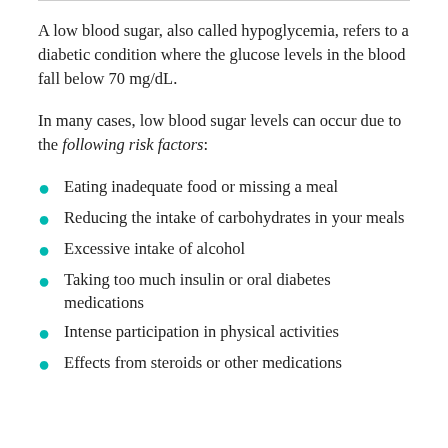A low blood sugar, also called hypoglycemia, refers to a diabetic condition where the glucose levels in the blood fall below 70 mg/dL.
In many cases, low blood sugar levels can occur due to the following risk factors:
Eating inadequate food or missing a meal
Reducing the intake of carbohydrates in your meals
Excessive intake of alcohol
Taking too much insulin or oral diabetes medications
Intense participation in physical activities
Effects from steroids or other medications